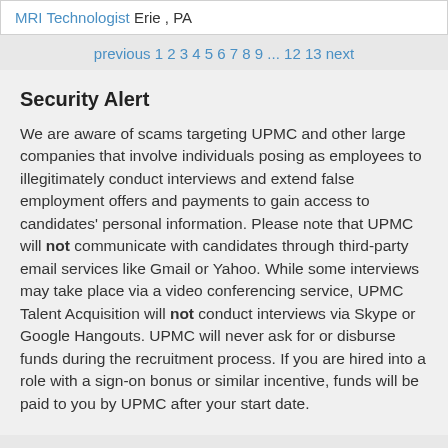MRI Technologist Erie , PA
previous 1 2 3 4 5 6 7 8 9 ... 12 13 next
Security Alert
We are aware of scams targeting UPMC and other large companies that involve individuals posing as employees to illegitimately conduct interviews and extend false employment offers and payments to gain access to candidates' personal information. Please note that UPMC will not communicate with candidates through third-party email services like Gmail or Yahoo. While some interviews may take place via a video conferencing service, UPMC Talent Acquisition will not conduct interviews via Skype or Google Hangouts. UPMC will never ask for or disburse funds during the recruitment process. If you are hired into a role with a sign-on bonus or similar incentive, funds will be paid to you by UPMC after your start date.